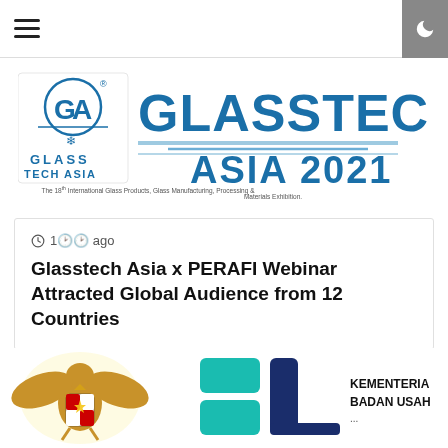Navigation menu and dark mode toggle
[Figure (logo): Glasstech Asia 2021 logo — square GA logo on left, large GLASSTECH ASIA 2021 text on right with tagline: The 18th International Glass Products, Glass Manufacturing, Processing & Materials Exhibition.]
1🕐 ago
Glasstech Asia x PERAFI Webinar Attracted Global Audience from 12 Countries
[Figure (logo): Indonesian Garuda Pancasila national emblem (gold eagle), a stylized BU logo in teal/navy, and partial text KEMENTERIAN BADAN USAH...]